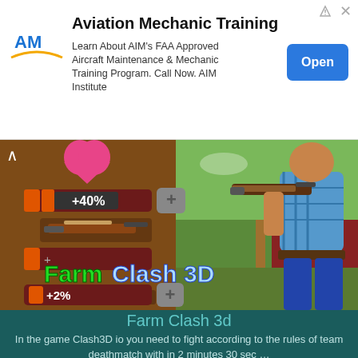[Figure (screenshot): Advertisement banner for Aviation Mechanic Training with AIM Institute logo, title, body text, and Open button]
Aviation Mechanic Training
Learn About AIM's FAA Approved Aircraft Maintenance & Mechanic Training Program. Call Now. AIM Institute
[Figure (screenshot): Farm Clash 3D game screenshot showing weapon upgrade UI with +40% and +2% bars and a 3D character holding a shotgun]
Farm Clash 3d
In the game Clash3D io you need to fight according to the rules of team deathmatch with in 2 minutes 30 sec …
[Figure (screenshot): Bottom thumbnail of another game showing a dark stone environment with a glowing blue orb]